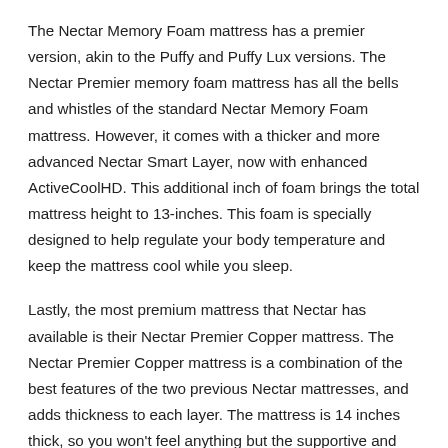The Nectar Memory Foam mattress has a premier version, akin to the Puffy and Puffy Lux versions. The Nectar Premier memory foam mattress has all the bells and whistles of the standard Nectar Memory Foam mattress. However, it comes with a thicker and more advanced Nectar Smart Layer, now with enhanced ActiveCoolHD. This additional inch of foam brings the total mattress height to 13-inches. This foam is specially designed to help regulate your body temperature and keep the mattress cool while you sleep.
Lastly, the most premium mattress that Nectar has available is their Nectar Premier Copper mattress. The Nectar Premier Copper mattress is a combination of the best features of the two previous Nectar mattresses, and adds thickness to each layer. The mattress is 14 inches thick, so you won't feel anything but the supportive and plushy comfort. The maximum temperature-regulating quilted cover has been upgraded to include copper-infused threads, which help dissipate heat.